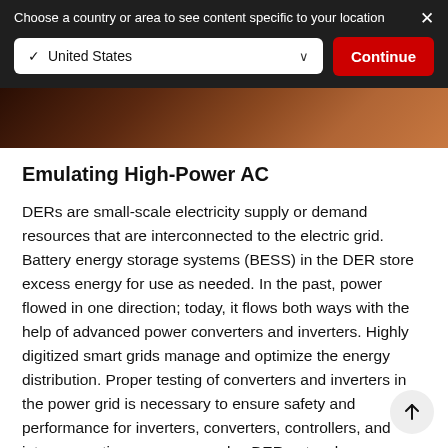Choose a country or area to see content specific to your location
[Figure (screenshot): UI dropdown showing 'United States' selected with a checkmark and a red 'Continue' button]
[Figure (photo): Dark brown/reddish hero image strip, partially visible]
Emulating High-Power AC
DERs are small-scale electricity supply or demand resources that are interconnected to the electric grid. Battery energy storage systems (BESS) in the DER store excess energy for use as needed. In the past, power flowed in one direction; today, it flows both ways with the help of advanced power converters and inverters. Highly digitized smart grids manage and optimize the energy distribution. Proper testing of converters and inverters in the power grid is necessary to ensure safety and performance for inverters, converters, controllers, and interconnections across complex DER networks.